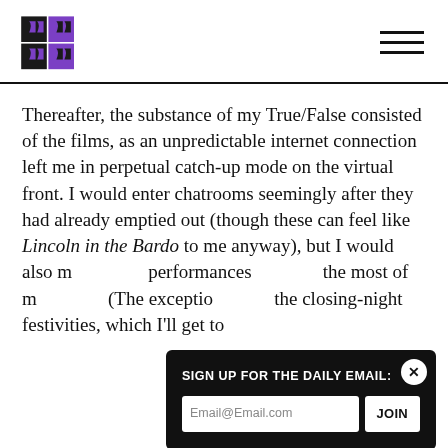[Logo: Reverse Shot] [Hamburger menu]
Thereafter, the substance of my True/False consisted of the films, as an unpredictable internet connection left me in perpetual catch-up mode on the virtual front. I would enter chatrooms seemingly after they had already emptied out (though these can feel like Lincoln in the Bardo to me anyway), but I would also m[iss live] performances[, making] the most of m[y time at] (The exceptio[n being] the closing-night festivities, which I'll get to
[Figure (screenshot): Email signup modal overlay with dark background. Title: 'SIGN UP FOR THE DAILY EMAIL:'. Email input field showing 'Email@Email.com' placeholder. 'JOIN' button. Close (X) button in top right corner.]